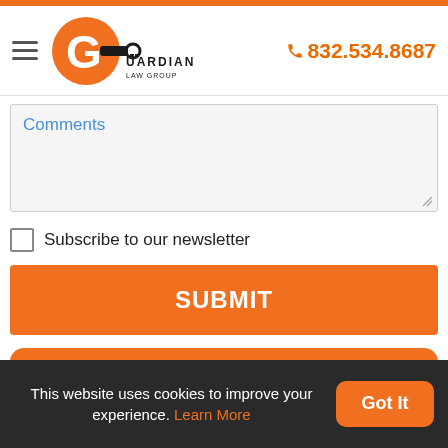[Figure (logo): Guardian Law Group logo with orange G and key icon, company name text]
832.534.8687
Comments
Subscribe to our newsletter
SUBMIT
WE GET THE JOB DONE NO MATTER HOW BIG OR SMALL
This website uses cookies to improve your experience. Learn More
Got It